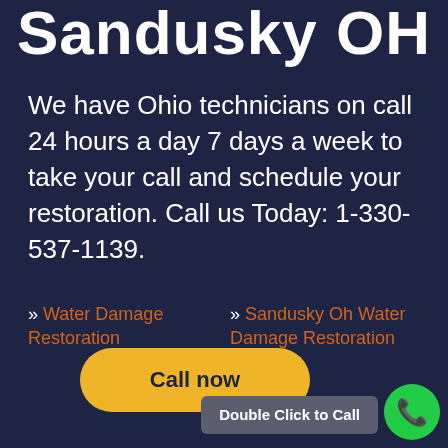Sandusky OH
We have Ohio technicians on call 24 hours a day 7 days a week to take your call and schedule your restoration. Call us Today: 1-330-537-1139.
» Water Damage Restoration
» Sandusky Oh Water Damage Restoration Repairs
Call now
Double Click to Call